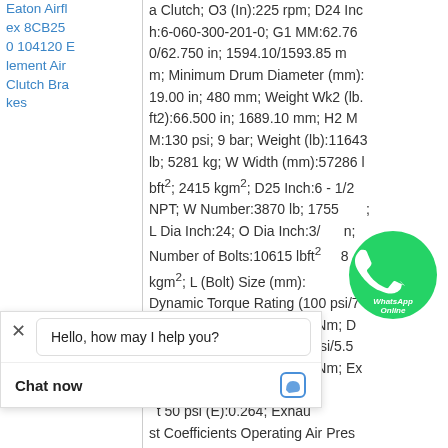| Product | Specifications |
| --- | --- |
| Eaton Airflex 8CB250 104120 Element Air Clutch Brakes | a Clutch; O3 (In):225 rpm; D24 Inch:6-060-300-201-0; G1 MM:62.760/62.750 in; 1594.10/1593.85 mm; Minimum Drum Diameter (mm):19.00 in; 480 mm; Weight Wk2 (lb.ft2):66.500 in; 1689.10 mm; H2 MM:130 psi; 9 bar; Weight (lb):11643 lb; 5281 kg; W Width (mm):57286 lbft²; 2415 kgm²; D25 Inch:6 - 1/2 NPT; W Number:3870 lb; 1755 kg; L Dia Inch:24; O Dia Inch:3/...; Number of Bolts:10615 lbft²; ...8 kgm²; L (Bolt) Size (mm):... Dynamic Torque Rating (100 psi/7 bar):8925000 lbin; 902300 Nm; Dynamic Torque Rating (80 psi/5.5 bar):7140000 lbin; 709000 Nm; Exhaust Coefficients Operating Air P... t 50 psi (E):0.264; Exhaust Coefficients Operating Air Pres... ...R):24; Exhaust Coe... ng Air Pressure at ... xhaust Coefficient |
[Figure (other): WhatsApp Online chat icon overlaid on product specification text]
Hello, how may I help you?
Chat now